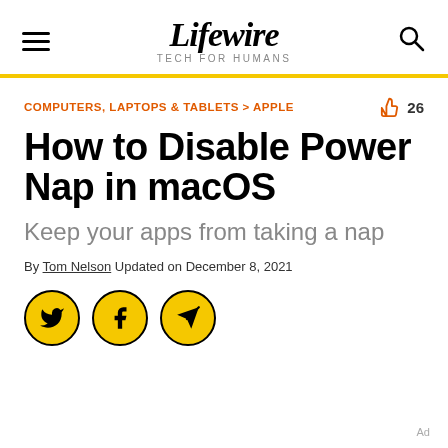Lifewire — TECH FOR HUMANS
COMPUTERS, LAPTOPS & TABLETS > APPLE
How to Disable Power Nap in macOS
Keep your apps from taking a nap
By Tom Nelson Updated on December 8, 2021
[Figure (other): Social share buttons: Twitter, Facebook, and Email/Send icons in yellow circles with black borders]
Ad